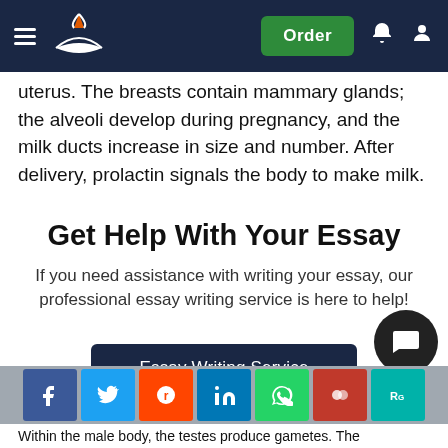Navigation bar with logo, hamburger menu, Order button, notification and user icons
uterus. The breasts contain mammary glands; the alveoli develop during pregnancy, and the milk ducts increase in size and number. After delivery, prolactin signals the body to make milk.
Get Help With Your Essay
If you need assistance with writing your essay, our professional essay writing service is here to help!
Essay Writing Service
Within the male body, the testes produce gametes. The